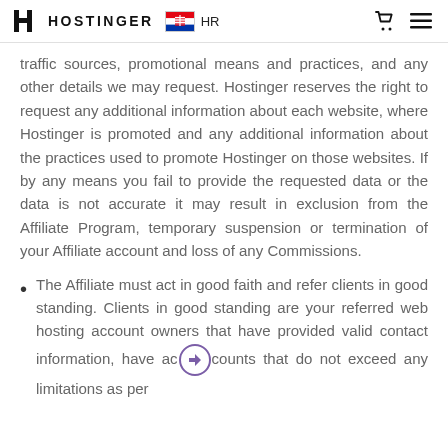HOSTINGER HR
traffic sources, promotional means and practices, and any other details we may request. Hostinger reserves the right to request any additional information about each website, where Hostinger is promoted and any additional information about the practices used to promote Hostinger on those websites. If by any means you fail to provide the requested data or the data is not accurate it may result in exclusion from the Affiliate Program, temporary suspension or termination of your Affiliate account and loss of any Commissions.
The Affiliate must act in good faith and refer clients in good standing. Clients in good standing are your referred web hosting account owners that have provided valid contact information, have accounts that do not exceed any limitations as per